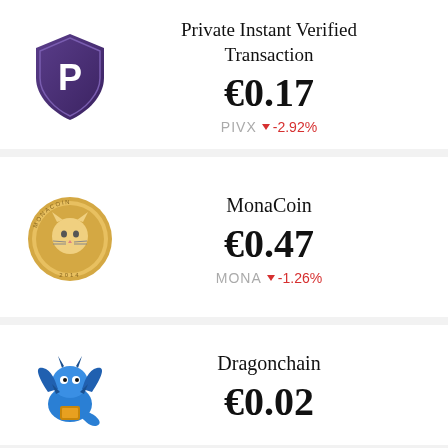[Figure (logo): PIVX shield logo, purple with P letter]
Private Instant Verified Transaction
€0.17
PIVX ▼ -2.92%
[Figure (logo): MonaCoin gold coin logo with cat face]
MonaCoin
€0.47
MONA ▼ -1.26%
[Figure (logo): Dragonchain blue dragon logo]
Dragonchain
€0.02